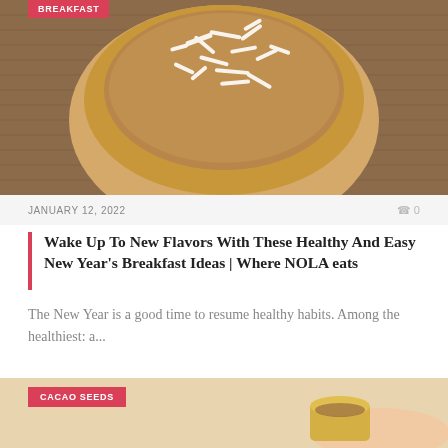[Figure (photo): A wooden bowl filled with oatmeal topped with shredded coconut, on a woven mat background]
JANUARY 12, 2022
0
Wake Up To New Flavors With These Healthy And Easy New Year's Breakfast Ideas | Where NOLA eats
The New Year is a good time to resume healthy habits. Among the healthiest: a...
[Figure (photo): A hand holding a small gold jar or container, cropped close-up, with a 'CACAO SEEDS' category badge overlay]